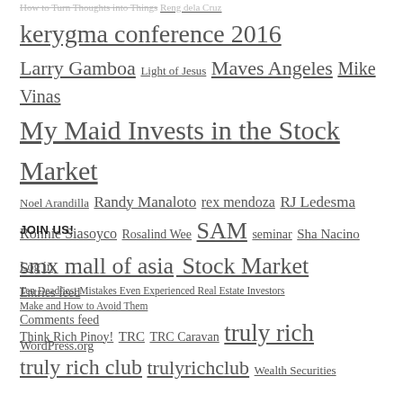How to Turn Thoughts into Things Reng dela Cruz kerygma conference 2016 Larry Gamboa Light of Jesus Maves Angeles Mike Vinas My Maid Invests in the Stock Market Noel Arandilla Randy Manaloto rex mendoza RJ Ledesma Ronnie Siasoyco Rosalind Wee SAM seminar Sha Nacino smx mall of asia Stock Market Ten Deadliest Mistakes Even Experienced Real Estate Investors Make and How to Avoid Them Think Rich Pinoy! TRC TRC Caravan truly rich truly rich club trulyrichclub Wealth Securities
JOIN US!
Log in
Entries feed
Comments feed
WordPress.org